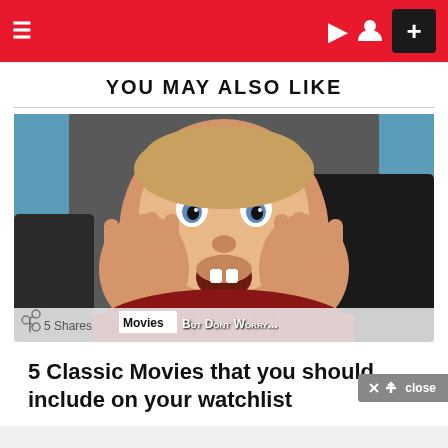≡  ) [user icon]  +
YOU MAY ALSO LIKE
[Figure (photo): A young boy (Macaulay Culkin from Home Alone) with hands on cheeks, mouth open in shock/scream expression, wearing a red sweater, with blue window frame in background. Overlay bar shows: share icon, 5 Shares, Movies tag, BUT DONT WORRY... text.]
5 Classic Movies that you should include on your watchlist